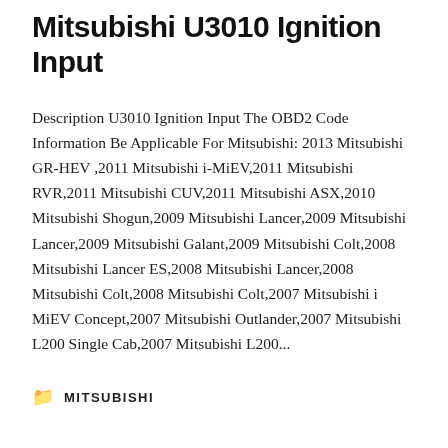Mitsubishi U3010 Ignition Input
Description U3010 Ignition Input The OBD2 Code Information Be Applicable For Mitsubishi: 2013 Mitsubishi GR-HEV ,2011 Mitsubishi i-MiEV,2011 Mitsubishi RVR,2011 Mitsubishi CUV,2011 Mitsubishi ASX,2010 Mitsubishi Shogun,2009 Mitsubishi Lancer,2009 Mitsubishi Lancer,2009 Mitsubishi Galant,2009 Mitsubishi Colt,2008 Mitsubishi Lancer ES,2008 Mitsubishi Lancer,2008 Mitsubishi Colt,2008 Mitsubishi Colt,2007 Mitsubishi i MiEV Concept,2007 Mitsubishi Outlander,2007 Mitsubishi L200 Single Cab,2007 Mitsubishi L200...
MITSUBISHI